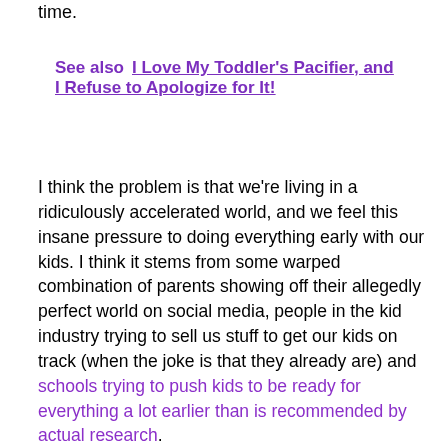time.
See also  I Love My Toddler's Pacifier, and I Refuse to Apologize for It!
I think the problem is that we're living in a ridiculously accelerated world, and we feel this insane pressure to doing everything early with our kids. I think it stems from some warped combination of parents showing off their allegedly perfect world on social media, people in the kid industry trying to sell us stuff to get our kids on track (when the joke is that they already are) and schools trying to push kids to be ready for everything a lot earlier than is recommended by actual research.